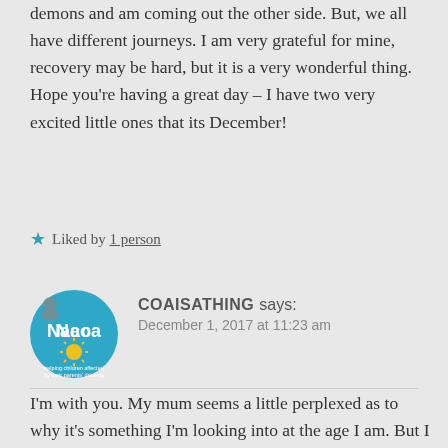demons and am coming out the other side. But, we all have different journeys. I am very grateful for mine, recovery may be hard, but it is a very wonderful thing. Hope you're having a great day – I have two very excited little ones that its December!
Liked by 1 person
[Figure (logo): Nacoa circular logo with blue background and yellow sun graphic]
COAISATHING says: December 1, 2017 at 11:23 am
I'm with you. My mum seems a little perplexed as to why it's something I'm looking into at the age I am. But I understand that, we all look at the